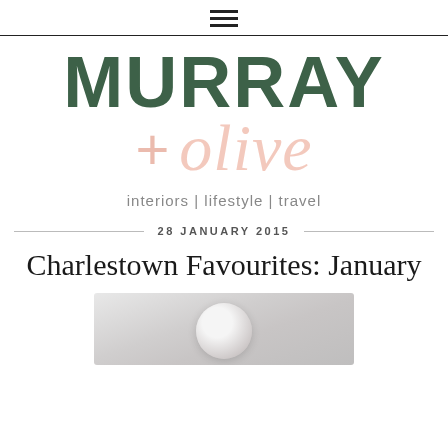☰
[Figure (logo): Murray + Olive blog logo with tagline 'interiors | lifestyle | travel']
28 JANUARY 2015
Charlestown Favourites: January
[Figure (photo): Photo of a glass orb terrarium on a light background]